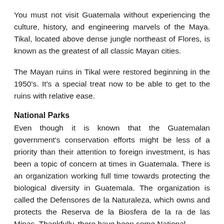You must not visit Guatemala without experiencing the culture, history, and engineering marvels of the Maya. Tikal, located above dense jungle northeast of Flores, is known as the greatest of all classic Mayan cities.
The Mayan ruins in Tikal were restored beginning in the 1950's. It's a special treat now to be able to get to the ruins with relative ease.
National Parks
Even though it is known that the Guatemalan government's conservation efforts might be less of a priority than their attention to foreign investment, is has been a topic of concern at times in Guatemala. There is an organization working full time towards protecting the biological diversity in Guatemala. The organization is called the Defensores de la Naturaleza, which owns and protects the Reserva de la Biosfera de la ra de las Minas. Thankfully, there have been some National